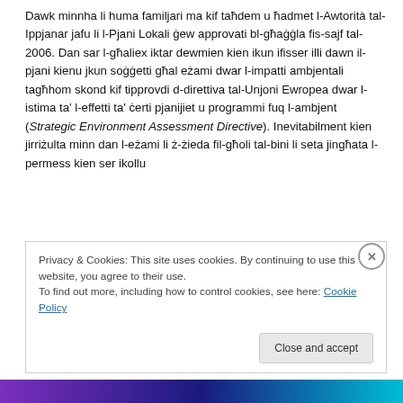Dawk minnha li huma familjari ma kif taħdem u ħadmet l-Awtorità tal-Ippjanar jafu li l-Pjani Lokali ġew approvati bl-għaġġla fis-sajf tal-2006. Dan sar l-għaliex iktar dewmien kien ikun ifisser illi dawn il-pjani kienu jkun soġġetti għal eżami dwar l-impatti ambjentali tagħhom skond kif tipprovdi d-direttiva tal-Unjoni Ewropea dwar l-istima ta' l-effetti ta' ċerti pjanijiet u programmi fuq l-ambjent (Strategic Environment Assessment Directive). Inevitabilment kien jirriżulta minn dan l-eżami li ż-żieda fil-għoli tal-bini li seta jingħata l-permess kien ser ikollu
Privacy & Cookies: This site uses cookies. By continuing to use this website, you agree to their use.
To find out more, including how to control cookies, see here: Cookie Policy
Close and accept